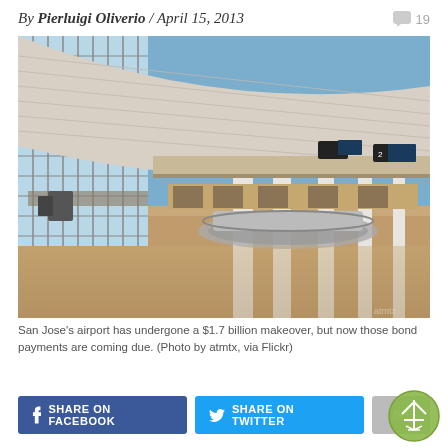By Pierluigi Oliverio / April 15, 2013  💬 19
[Figure (photo): Interior of San Jose airport terminal with high ceilings, large glass windows, white columns, baggage carousels, and empty seating areas. Modern architecture with reflective floors.]
San Jose's airport has undergone a $1.7 billion makeover, but now those bond payments are coming due. (Photo by atmtx, via Flickr)
SHARE ON FACEBOOK  SHARE ON TWITTER  E[mail]